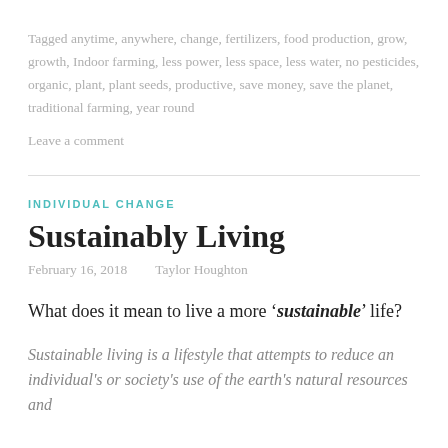Tagged anytime, anywhere, change, fertilizers, food production, grow, growth, Indoor farming, less power, less space, less water, no pesticides, organic, plant, plant seeds, productive, save money, save the planet, traditional farming, year round
Leave a comment
INDIVIDUAL CHANGE
Sustainably Living
February 16, 2018    Taylor Houghton
What does it mean to live a more 'sustainable' life?
Sustainable living is a lifestyle that attempts to reduce an individual's or society's use of the earth's natural resources and